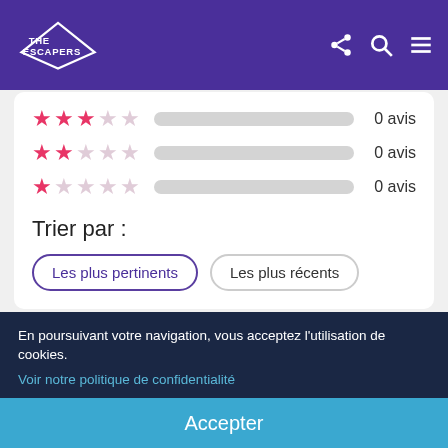THE ESCAPERS — navigation header with logo, share, search, and menu icons
3 stars — 0 avis
2 stars — 0 avis
1 star — 0 avis
Trier par :
Les plus pertinents
Les plus récents
Journal de Deux Fuyards
S'abonner
En poursuivant votre navigation, vous acceptez l'utilisation de cookies.
Voir notre politique de confidentialité
Accepter